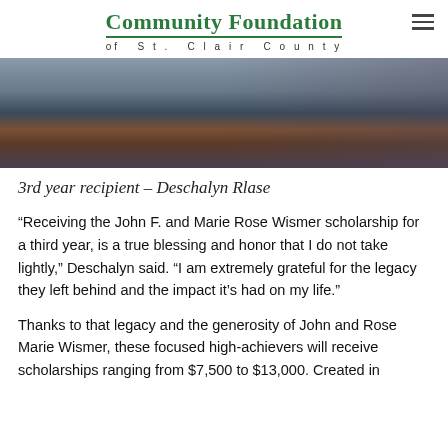Community Foundation of St. Clair County
[Figure (photo): Photo of a person in a blue shirt standing near a wooden podium or lectern, partially cropped at top]
3rd year recipient – Deschalyn Rlase
“Receiving the John F. and Marie Rose Wismer scholarship for a third year, is a true blessing and honor that I do not take lightly,” Deschalyn said. “I am extremely grateful for the legacy they left behind and the impact it’s had on my life.”
Thanks to that legacy and the generosity of John and Rose Marie Wismer, these focused high-achievers will receive scholarships ranging from $7,500 to $13,000. Created in